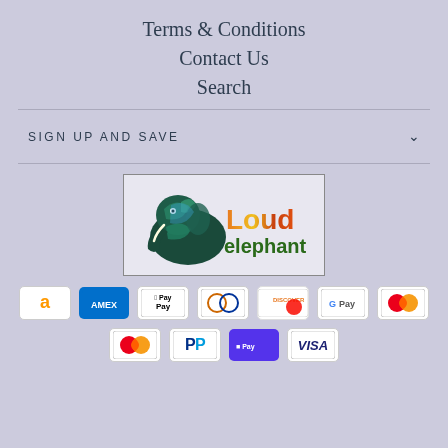Terms & Conditions
Contact Us
Search
SIGN UP AND SAVE
[Figure (logo): Loud Elephant logo with colorful elephant graphic and stylized text]
[Figure (infographic): Payment method icons: Amazon, Amex, Apple Pay, Diners Club, Discover, Google Pay, Mastercard (top row); Mastercard, PayPal, Shop Pay, Visa (bottom row)]